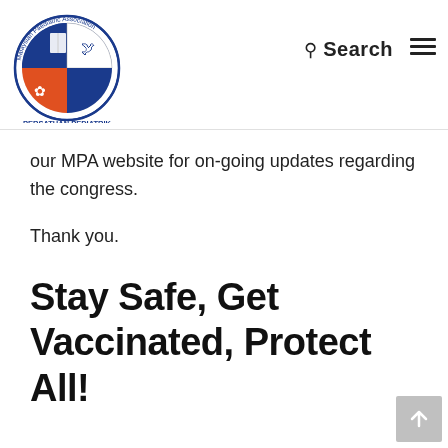[Figure (logo): Malaysian Paediatric Association (Persatuan Pediatrik Malaysia) circular logo with red, blue, and white design, with a bird and snowflake icon]
Search  ≡
our MPA website for on-going updates regarding the congress.
Thank you.
Stay Safe, Get Vaccinated, Protect All!
Hung Liang Choo
President 2019–2021